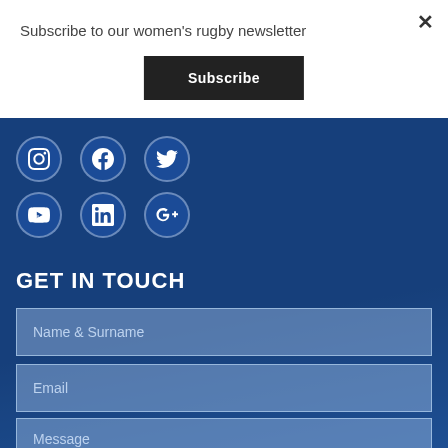Subscribe to our women's rugby newsletter
Subscribe
×
[Figure (infographic): Social media icons: Instagram, Facebook, Twitter (top row); YouTube, LinkedIn, Google+ (bottom row) on blue background]
GET IN TOUCH
Name & Surname
Email
Message